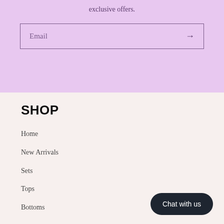exclusive offers.
Email →
SHOP
Home
New Arrivals
Sets
Tops
Bottoms
Chat with us